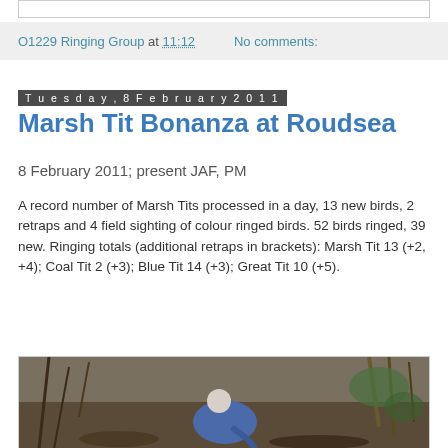O1229 Ringing Group at 11:12   No comments:
Tuesday, 8 February 2011
Marsh Tit Bonanza at Roudsea
8 February 2011; present JAF, PM
A record number of Marsh Tits processed in a day, 13 new birds, 2 retraps and 4 field sighting of colour ringed birds. 52 birds ringed, 39 new. Ringing totals (additional retraps in brackets): Marsh Tit 13 (+2, +4); Coal Tit 2 (+3); Blue Tit 14 (+3); Great Tit 10 (+5).
[Figure (photo): Person bending over in an outdoor woodland/nature setting, wearing a blue jacket, examining something on the ground among leaves and vegetation.]